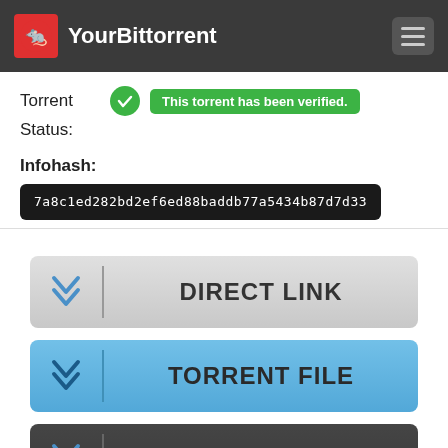YourBittorrent
Torrent Status: This torrent has been verified.
Infohash: 7a8c1ed282bd2ef6ed88baddb77a5434b87d7d33
DIRECT LINK
TORRENT FILE
DOWNLOAD NOW